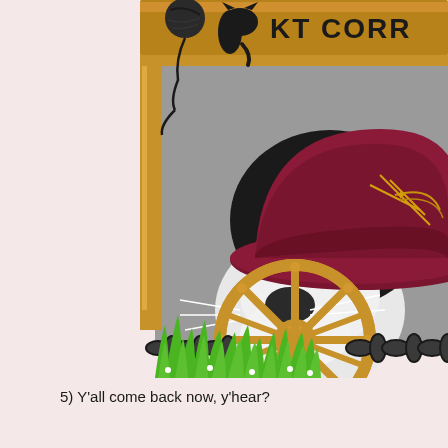[Figure (photo): A black and white cat wearing a burgundy/dark red cowboy hat, positioned inside a wooden frame/sign structure with a wagon wheel decoration in front and grass at the bottom. A chain runs horizontally at bottom. Upper part of frame shows a yarn ball silhouette and partial text 'KT CORR...' with a cat silhouette. The background of the photo is gray.]
5)  Y'all come back now, y'hear?